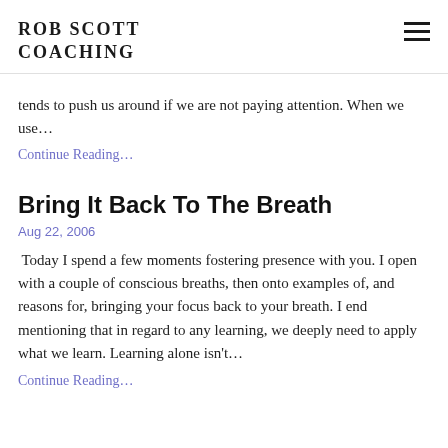ROB SCOTT COACHING
tends to push us around if we are not paying attention. When we use…
Continue Reading…
Bring It Back To The Breath
Aug 22, 2006
Today I spend a few moments fostering presence with you. I open with a couple of conscious breaths, then onto examples of, and reasons for, bringing your focus back to your breath. I end mentioning that in regard to any learning, we deeply need to apply what we learn. Learning alone isn't…
Continue Reading…